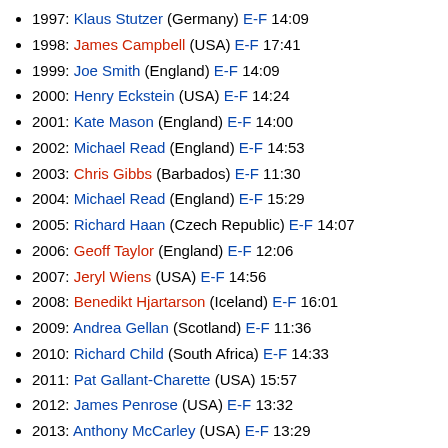1997: Klaus Stutzer (Germany) E-F 14:09
1998: James Campbell (USA) E-F 17:41
1999: Joe Smith (England) E-F 14:09
2000: Henry Eckstein (USA) E-F 14:24
2001: Kate Mason (England) E-F 14:00
2002: Michael Read (England) E-F 14:53
2003: Chris Gibbs (Barbados) E-F 11:30
2004: Michael Read (England) E-F 15:29
2005: Richard Haan (Czech Republic) E-F 14:07
2006: Geoff Taylor (England) E-F 12:06
2007: Jeryl Wiens (USA) E-F 14:56
2008: Benedikt Hjartarson (Iceland) E-F 16:01
2009: Andrea Gellan (Scotland) E-F 11:36
2010: Richard Child (South Africa) E-F 14:33
2011: Pat Gallant-Charette (USA) 15:57
2012: James Penrose (USA) E-F 13:32
2013: Anthony McCarley (USA) E-F 13:29
Channel Swimming Association Awards